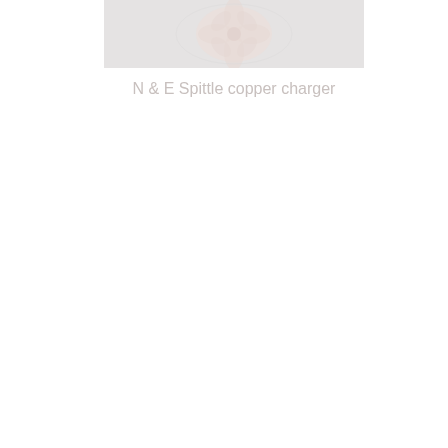[Figure (photo): A faded/washed-out photo of a copper charger plate or decorative dish, showing a petal or leaf embossed design in pale rose/copper tones against a light grey background.]
N & E Spittle copper charger